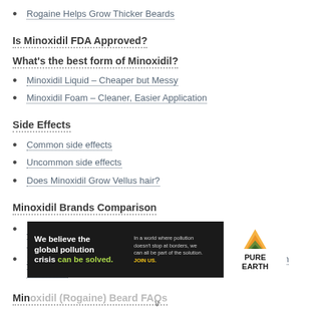Rogaine Helps Grow Thicker Beards
Is Minoxidil FDA Approved?
What's the best form of Minoxidil?
Minoxidil Liquid – Cheaper but Messy
Minoxidil Foam – Cleaner, Easier Application
Side Effects
Common side effects
Uncommon side effects
Does Minoxidil Grow Vellus hair?
Minoxidil Brands Comparison
1. Men's Rogaine Extra Strength – 5% Minoxidil Hair Regrowth Treatment
2. Kirkland Minoxidil 5% For Men – Extra Strength Hair Regrowth Treatment
Minoxidil (Rogaine) Beard FAQs
[Figure (infographic): Advertisement banner for Pure Earth with text: We believe the global pollution crisis can be solved. In a world where pollution doesn't stop at borders, we can all be part of the solution. JOIN US. Pure Earth logo with layered triangle/chevron shapes in orange and green.]